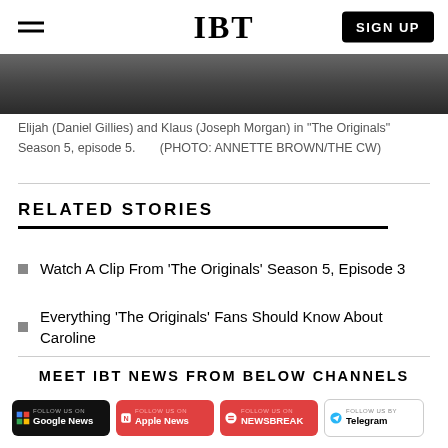IBT  SIGN UP
[Figure (photo): Partial photo strip showing Elijah and Klaus from The Originals Season 5]
Elijah (Daniel Gillies) and Klaus (Joseph Morgan) in “The Originals” Season 5, episode 5.        (PHOTO: ANNETTE BROWN/THE CW)
RELATED STORIES
Watch A Clip From ‘The Originals’ Season 5, Episode 3
Everything ‘The Originals’ Fans Should Know About Caroline
MEET IBT NEWS FROM BELOW CHANNELS
[Figure (other): Follow buttons: Google News, Apple News, Newsbreak, Telegram]